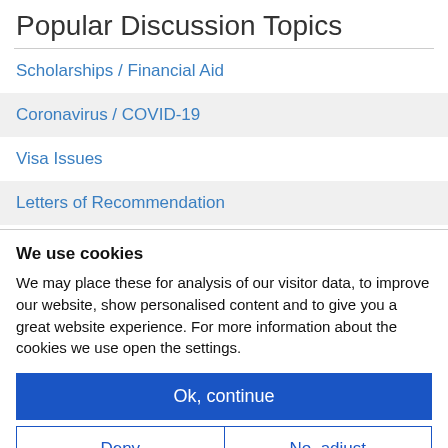Popular Discussion Topics
Scholarships / Financial Aid
Coronavirus / COVID-19
Visa Issues
Letters of Recommendation
We use cookies
We may place these for analysis of our visitor data, to improve our website, show personalised content and to give you a great website experience. For more information about the cookies we use open the settings.
Ok, continue
Deny
No, adjust